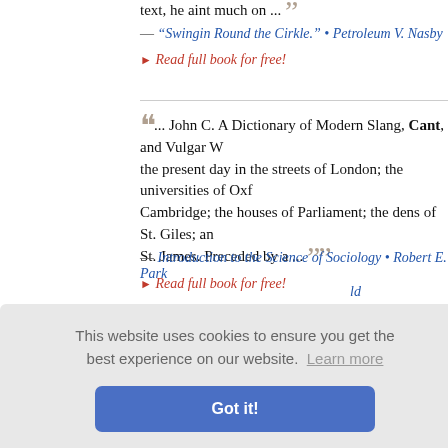text, he aint much on ...
— "Swingin Round the Cirkle." • Petroleum V. Nasby
▸ Read full book for free!
... John C. A Dictionary of Modern Slang, Cant, and Vulgar W... the present day in the streets of London; the universities of Oxf... Cambridge; the houses of Parliament; the dens of St. Giles; an... St. James. Preceded by a ...
— Introduction to the Science of Sociology • Robert E. Park
▸ Read full book for free!
... to robbers and mariners. Thieves are dubbed by Shakesp... by the sam... ht-fingere... ecause Th... gh the sain... int of scho...
— ...ld
▸ Read full book for free!
This website uses cookies to ensure you get the best experience on our website. Learn more
Got it!